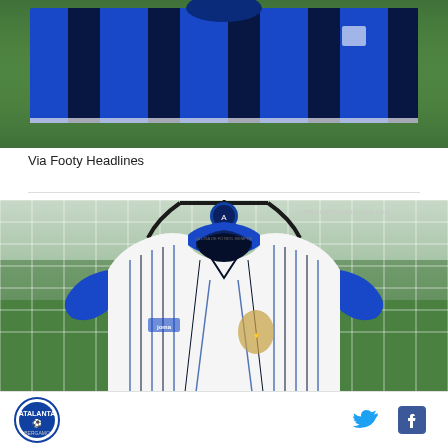[Figure (photo): Atalanta home kit (blue and black striped jersey) laid flat on green grass, viewed from above, photographed by Footy Headlines]
Via Footy Headlines
[Figure (photo): Atalanta away jersey (white with blue/black pinstripes, blue collar, Joma branding, Goddess logo) hanging on a hanger in front of a football goal net, with green pitch and stands in background. Watermark: WWW.FOOTYHEADLINES.COM]
Footer with Atalanta fan site logo on left and Twitter/Facebook social icons on right